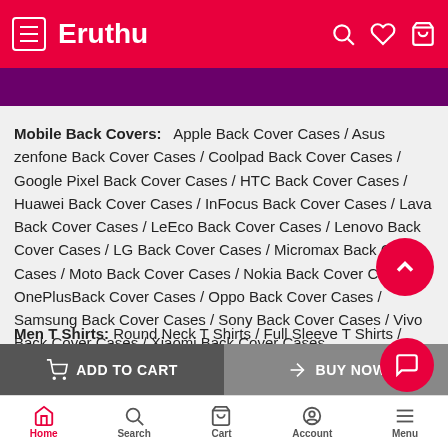Eruthu
Mobile Back Covers: Apple Back Cover Cases / Asus zenfone Back Cover Cases / Coolpad Back Cover Cases / Google Pixel Back Cover Cases / HTC Back Cover Cases / Huawei Back Cover Cases / InFocus Back Cover Cases / Lava Back Cover Cases / LeEco Back Cover Cases / Lenovo Back Cover Cases / LG Back Cover Cases / Micromax Back Cover Cases / Moto Back Cover Cases / Nokia Back Cover Cases / OnePlusBack Cover Cases / Oppo Back Cover Cases / Samsung Back Cover Cases / Sony Back Cover Cases / Vivo Back Cover Cases / Xiaomi Back Cover Cases
Men T Shirts: Round Neck T Shirts / Full Sleeve T Shirts /
Home  Search  Cart  Account  Menu